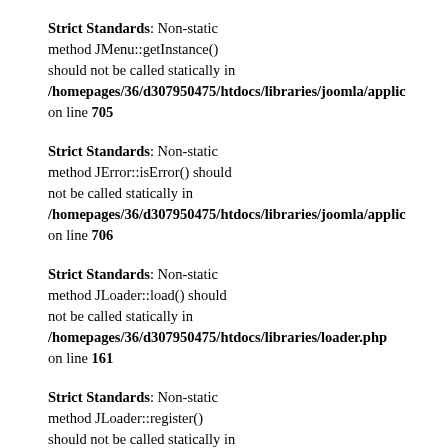Strict Standards: Non-static method JMenu::getInstance() should not be called statically in /homepages/36/d307950475/htdocs/libraries/joomla/applic on line 705
Strict Standards: Non-static method JError::isError() should not be called statically in /homepages/36/d307950475/htdocs/libraries/joomla/applic on line 706
Strict Standards: Non-static method JLoader::load() should not be called statically in /homepages/36/d307950475/htdocs/libraries/loader.php on line 161
Strict Standards: Non-static method JLoader::register() should not be called statically in /homepages/36/d307950475/htdocs/libraries/loader.php on line 138